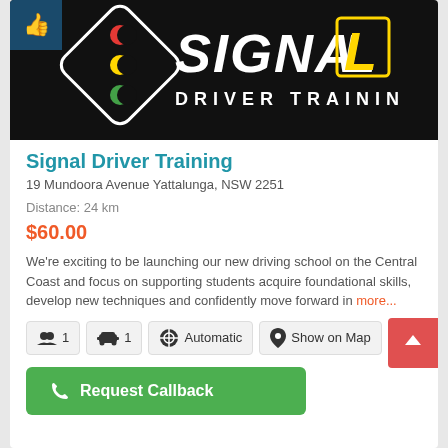[Figure (logo): Signal Driver Training logo — black background with traffic light diamond icon and SIGNAL DRIVER TRAINING text in white/yellow]
Signal Driver Training
19 Mundoora Avenue Yattalunga, NSW 2251
Distance: 24 km
$60.00
We're exciting to be launching our new driving school on the Central Coast and focus on supporting students acquire foundational skills, develop new techniques and confidently move forward in more...
👥 1  🚗 1  ⊕ Automatic  📍 Show on Map
Request Callback